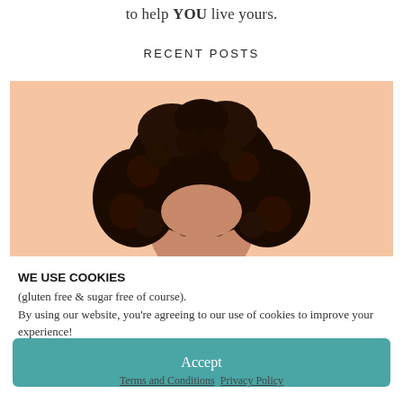to help YOU live yours.
RECENT POSTS
[Figure (photo): Photo of person with curly dark hair against a peach/beige background, cropped to show the top of the head]
WE USE COOKIES
(gluten free & sugar free of course).
By using our website, you're agreeing to our use of cookies to improve your experience!
Accept
Terms and Conditions   Privacy Policy